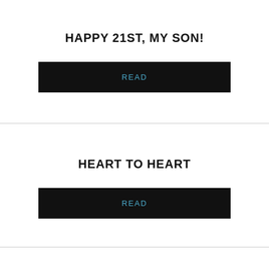HAPPY 21ST, MY SON!
READ
HEART TO HEART
READ